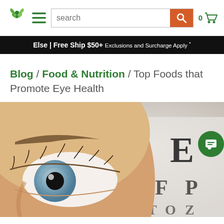[Figure (screenshot): Website header navigation bar with logo, hamburger menu, search bar, and cart icon]
Else | Free Ship $50+ Exclusions and Surcharge Apply *
Blog / Food & Nutrition / Top Foods that Promote Eye Health
[Figure (photo): Close-up of a person's eye looking upward with an eye chart blurred in the background showing letters E, F, P]